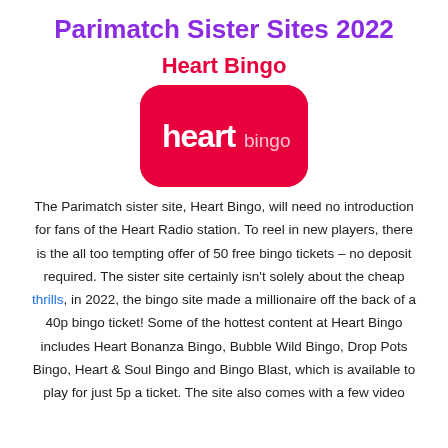Parimatch Sister Sites 2022
Heart Bingo
[Figure (logo): Heart Bingo logo — red rounded rectangle with 'heart bingo' text in white]
The Parimatch sister site, Heart Bingo, will need no introduction for fans of the Heart Radio station. To reel in new players, there is the all too tempting offer of 50 free bingo tickets – no deposit required. The sister site certainly isn't solely about the cheap thrills, in 2022, the bingo site made a millionaire off the back of a 40p bingo ticket! Some of the hottest content at Heart Bingo includes Heart Bonanza Bingo, Bubble Wild Bingo, Drop Pots Bingo, Heart & Soul Bingo and Bingo Blast, which is available to play for just 5p a ticket. The site also comes with a few video